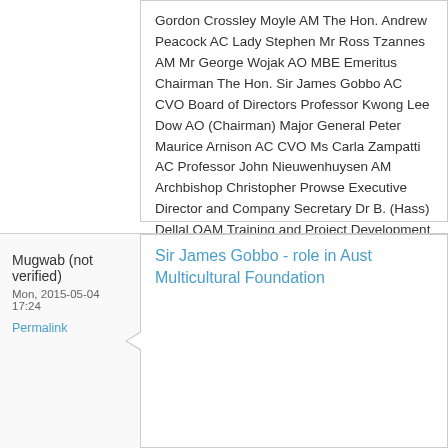Gordon Crossley Moyle AM The Hon. Andrew Peacock AC Lady Stephen Mr Ross Tzannes AM Mr George Wojak AO MBE Emeritus Chairman The Hon. Sir James Gobbo AC CVO Board of Directors Professor Kwong Lee Dow AO (Chairman) Major General Peter Maurice Arnison AC CVO Ms Carla Zampatti AC Professor John Nieuwenhuysen AM Archbishop Christopher Prowse Executive Director and Company Secretary Dr B. (Hass) Dellal OAM Training and Project Development Manager Ms Lynn Cain Administrative Assistant Mrs Brigit Murikumthara Project Co-ordinator Ms Anneliese Brinkman External Legal Consultant Ms Azmeena Hussain
reply
Mugwab (not verified)
Mon, 2015-05-04 17:24
Permalink
Sir James Gobbo - role in Aust Multicultural Foundation